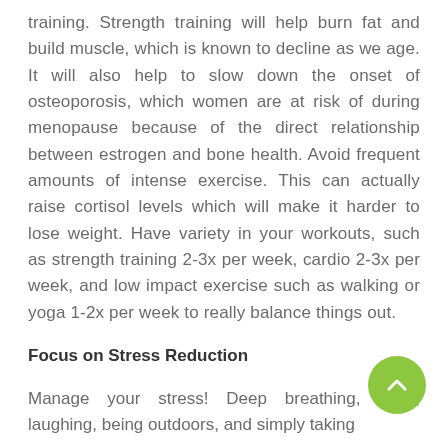training. Strength training will help burn fat and build muscle, which is known to decline as we age. It will also help to slow down the onset of osteoporosis, which women are at risk of during menopause because of the direct relationship between estrogen and bone health. Avoid frequent amounts of intense exercise. This can actually raise cortisol levels which will make it harder to lose weight. Have variety in your workouts, such as strength training 2-3x per week, cardio 2-3x per week, and low impact exercise such as walking or yoga 1-2x per week to really balance things out.
Focus on Stress Reduction
Manage your stress! Deep breathing, yoga, laughing, being outdoors, and simply taking